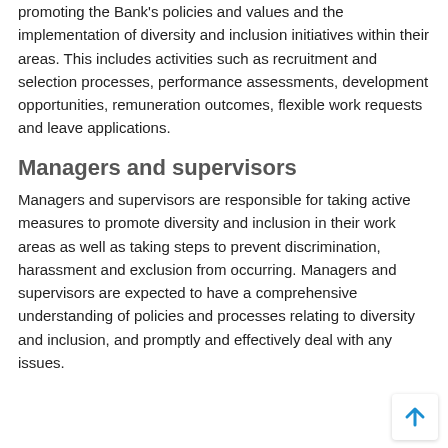promoting the Bank's policies and values and the implementation of diversity and inclusion initiatives within their areas. This includes activities such as recruitment and selection processes, performance assessments, development opportunities, remuneration outcomes, flexible work requests and leave applications.
Managers and supervisors
Managers and supervisors are responsible for taking active measures to promote diversity and inclusion in their work areas as well as taking steps to prevent discrimination, harassment and exclusion from occurring. Managers and supervisors are expected to have a comprehensive understanding of policies and processes relating to diversity and inclusion, and promptly and effectively deal with any issues.